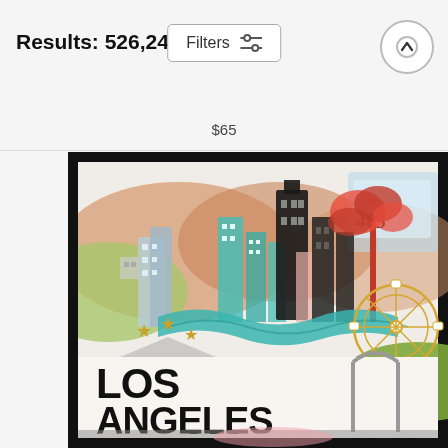Results: 526,242
Filters
$65
[Figure (illustration): Colorful illustrated art print of Los Angeles cityscape with skyscrapers, palm trees, stars, mountains, and text 'LOS ANGELES', displayed in a black frame]